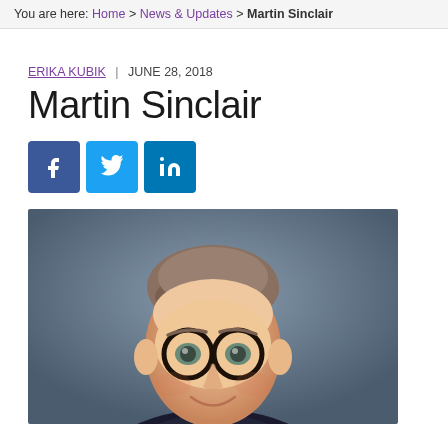You are here: Home > News & Updates > Martin Sinclair
ERIKA KUBIK  |  JUNE 28, 2018
Martin Sinclair
[Figure (other): Social media share buttons: Facebook, Twitter, LinkedIn]
[Figure (photo): Professional headshot of Martin Sinclair, a young man with glasses, short brown hair, wearing a dark suit and light blue shirt, smiling, against a dark grey background]